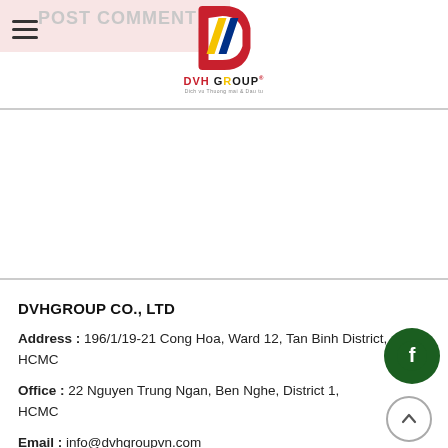POST COMMENT
[Figure (logo): DVH Group logo with red/yellow/blue diagonal stripe D emblem and company name]
DVHGROUP CO., LTD
Address : 196/1/19-21 Cong Hoa, Ward 12, Tan Binh District, HCMC
Office : 22 Nguyen Trung Ngan, Ben Nghe, District 1, HCMC
Email : info@dvhgroupvn.com